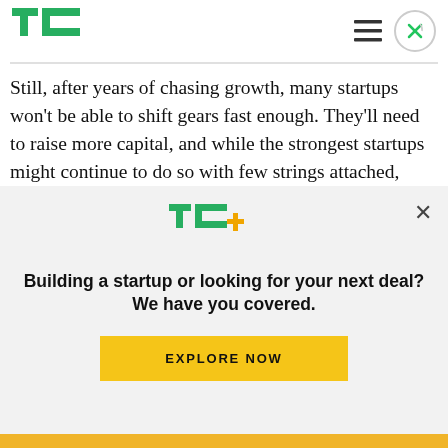TechCrunch header with TC logo, hamburger menu, and close button
Still, after years of chasing growth, many startups won't be able to shift gears fast enough. They'll need to raise more capital, and while the strongest startups might continue to do so with few strings attached, others will face two options: raise more money at the same valuation but also more
[Figure (logo): TC+ logo — TechCrunch plus subscription service logo in green with orange plus sign]
Building a startup or looking for your next deal? We have you covered.
EXPLORE NOW